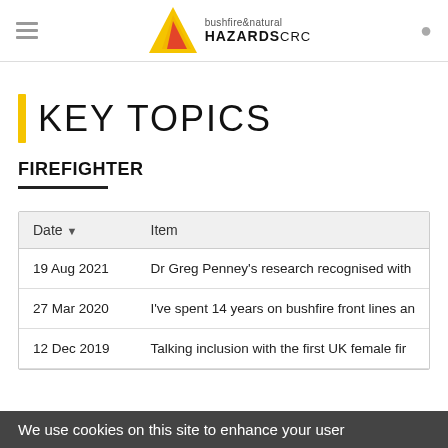bushfire & natural HAZARDS CRC
KEY TOPICS
FIREFIGHTER
| Date | Item |
| --- | --- |
| 19 Aug 2021 | Dr Greg Penney's research recognised with |
| 27 Mar 2020 | I've spent 14 years on bushfire front lines an |
| 12 Dec 2019 | Talking inclusion with the first UK female fir |
We use cookies on this site to enhance your user